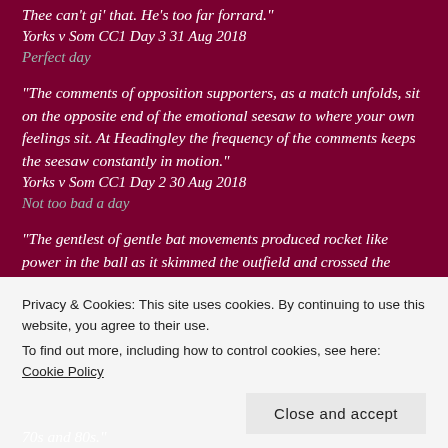“Thee can’t gi’ that. He’s too far forrard.”
Yorks v Som CC1 Day 3 31 Aug 2018
Perfect day
“The comments of opposition supporters, as a match unfolds, sit on the opposite end of the emotional seesaw to where your own feelings sit. At Headingley the frequency of the comments keeps the seesaw constantly in motion.”
Yorks v Som CC1 Day 2 30 Aug 2018
Not too bad a day
“The gentlest of gentle bat movements produced rocket like power in the ball as it skimmed the outfield and crossed the boundary directly in front of me. “Just look at that,” another Yorkshire voice drooled.”
Privacy & Cookies: This site uses cookies. By continuing to use this website, you agree to their use.
To find out more, including how to control cookies, see here: Cookie Policy
Close and accept
70s and 80s.”